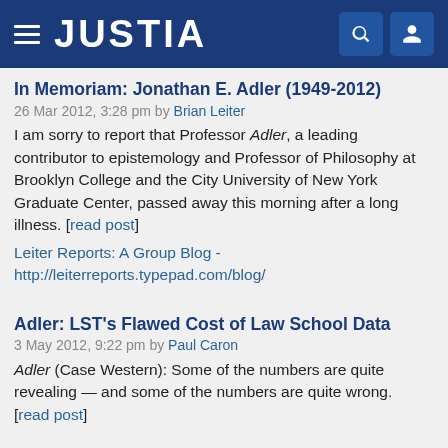JUSTIA
In Memoriam: Jonathan E. Adler (1949-2012)
26 Mar 2012, 3:28 pm by Brian Leiter
I am sorry to report that Professor Adler, a leading contributor to epistemology and Professor of Philosophy at Brooklyn College and the City University of New York Graduate Center, passed away this morning after a long illness. [read post]
Leiter Reports: A Group Blog - http://leiterreports.typepad.com/blog/
Adler: LST's Flawed Cost of Law School Data
3 May 2012, 9:22 pm by Paul Caron
Adler (Case Western): Some of the numbers are quite revealing — and some of the numbers are quite wrong. [read post]